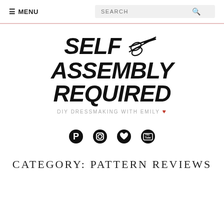≡ MENU  SEARCH
[Figure (logo): Self Assembly Required blog logo with scissors icon and text SELF ASSEMBLY REQUIRED, tagline DIY DRESSMAKING WITH EMILY with red heart]
[Figure (infographic): Social media icons: Pinterest, Instagram, heart/Bloglovin, YouTube]
CATEGORY: PATTERN REVIEWS